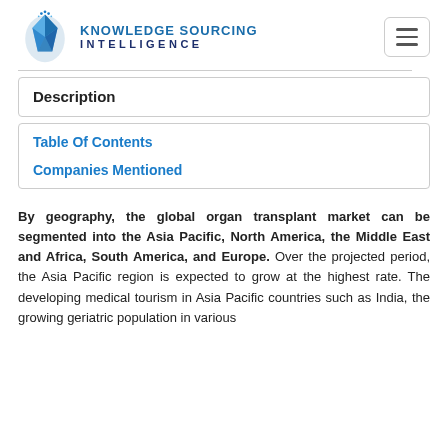[Figure (logo): Knowledge Sourcing Intelligence logo with blue crystalline icon and company name]
Description
Table Of Contents
Companies Mentioned
By geography, the global organ transplant market can be segmented into the Asia Pacific, North America, the Middle East and Africa, South America, and Europe. Over the projected period, the Asia Pacific region is expected to grow at the highest rate. The developing medical tourism in Asia Pacific countries such as India, the growing geriatric population in various